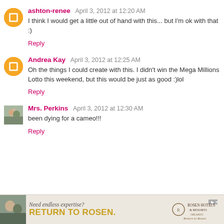ashton-renee  April 3, 2012 at 12:20 AM
I think I would get a little out of hand with this... but I'm ok with that :)
Reply
Andrea Kay  April 3, 2012 at 12:25 AM
Oh the things I could create with this. I didn't win the Mega Millions Lotto this weekend, but this would be just as good :)lol
Reply
Mrs. Perkins  April 3, 2012 at 12:30 AM
been dying for a cameo!!!
Reply
[Figure (infographic): Advertisement banner: Need endless expertise? RETURN TO ROSEN. Rosen Hotels & Resorts logo.]